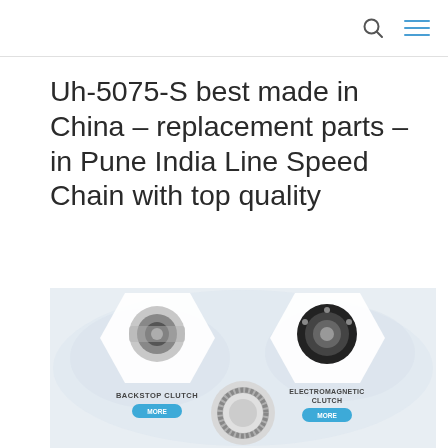Uh-5075-S best made in China – replacement parts – in Pune India Line Speed Chain with top quality
[Figure (photo): Product showcase image showing three mechanical parts in hexagonal frames on a world-map background: Backstop Clutch (cylindrical bearing unit), a needle roller bearing ring in the center, and Electromagnetic Clutch on the right, each with a 'MORE' button below.]